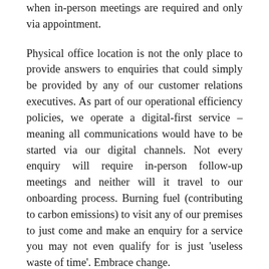when in-person meetings are required and only via appointment.
Physical office location is not the only place to provide answers to enquiries that could simply be provided by any of our customer relations executives. As part of our operational efficiency policies, we operate a digital-first service – meaning all communications would have to be started via our digital channels. Not every enquiry will require in-person follow-up meetings and neither will it travel to our onboarding process. Burning fuel (contributing to carbon emissions) to visit any of our premises to just come and make an enquiry for a service you may not even qualify for is just 'useless waste of time'. Embrace change.
Instead of saying 'Hi', 'Hello', 'Good Morning' via our social media platforms waiting to be responded to by any of our customer service executives before you make your enquiry, please go ahead and ask your question